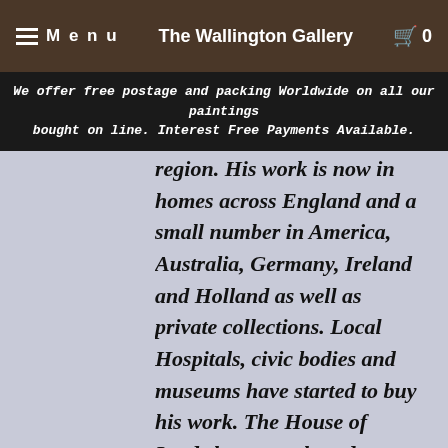Menu | The Wallington Gallery | 🛒 0
We offer free postage and packing Worldwide on all our paintings bought on line. Interest Free Payments Available.
region. His work is now in homes across England and a small number in America, Australia, Germany, Ireland and Holland as well as private collections. Local Hospitals, civic bodies and museums have started to buy his work. The House of Lords have purchased two paintings to add to their collection. It has been his work depicting miners that have proved most popular and he is